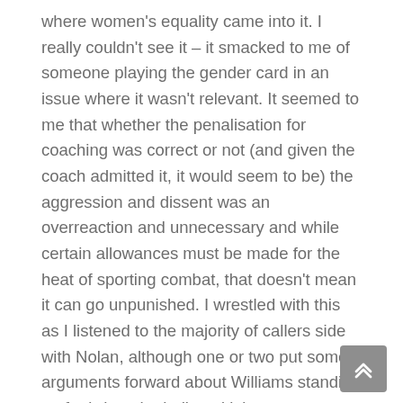where women's equality came into it. I really couldn't see it – it smacked to me of someone playing the gender card in an issue where it wasn't relevant. It seemed to me that whether the penalisation for coaching was correct or not (and given the coach admitted it, it would seem to be) the aggression and dissent was an overreaction and unnecessary and while certain allowances must be made for the heat of sporting combat, that doesn't mean it can go unpunished. I wrestled with this as I listened to the majority of callers side with Nolan, although one or two put some arguments forward about Williams standing up for 'what she believed in'.

I think at this point I have to say that I take great